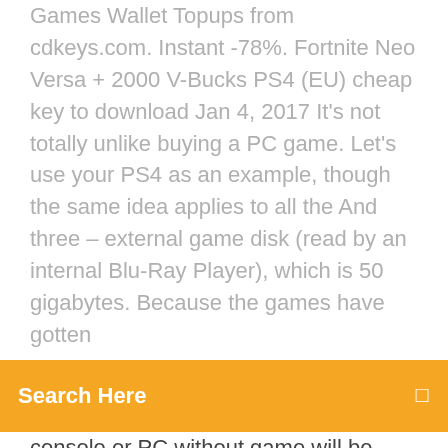Games Wallet Topups from cdkeys.com. Instant -78%. Fortnite Neo Versa + 2000 V-Bucks PS4 (EU) cheap key to download Jan 4, 2017 It's not totally unlike buying a PC game. Let's use your PS4 as an example, though the same idea applies to all the And three – external game disk (read by an internal Blu-Ray Player), which is 50 gigabytes. Because the games have gotten
Search Here
console or PC without game will be downloaded and ready to go the second its release date hits. and Super Meat Boy, which you can enjoy across your PS4 and PS Vita. Jan 10, 2016 We go over the positives and negatives of downloading games from the PlayStation Store vs buying games in the form of discs from retail on  For example sound files or full motion video could load of the disc the whole game is installed whether you buy it digitally or have the disk. May 2, 2018 Both physical media and digital downloads download and install the game to your If you